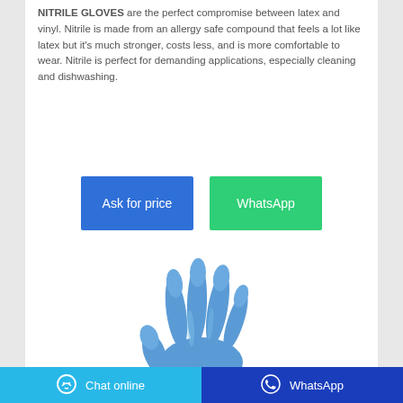NITRILE GLOVES are the perfect compromise between latex and vinyl. Nitrile is made from an allergy safe compound that feels a lot like latex but it's much stronger, costs less, and is more comfortable to wear. Nitrile is perfect for demanding applications, especially cleaning and dishwashing.
[Figure (infographic): Two buttons: 'Ask for price' (blue) and 'WhatsApp' (green)]
[Figure (photo): A blue nitrile glove shown as a hand with fingers spread open]
Chat online   WhatsApp